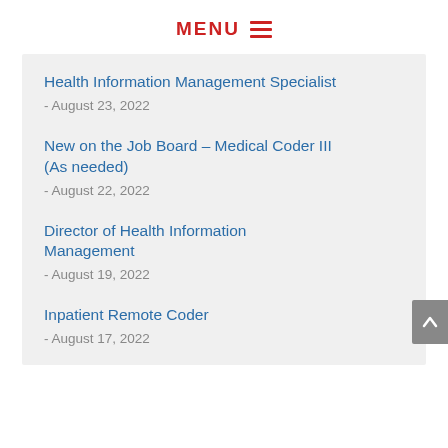MENU
Health Information Management Specialist - August 23, 2022
New on the Job Board – Medical Coder III (As needed) - August 22, 2022
Director of Health Information Management - August 19, 2022
Inpatient Remote Coder - August 17, 2022